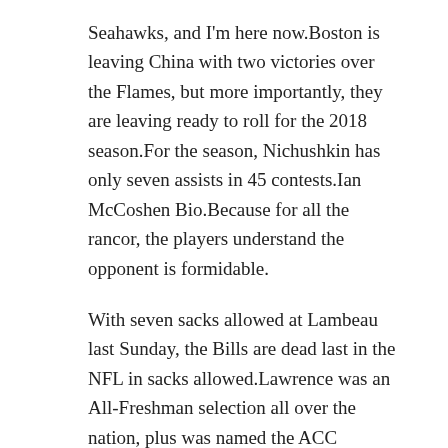Seahawks, and I'm here now.Boston is leaving China with two victories over the Flames, but more importantly, they are leaving ready to roll for the 2018 season.For the season, Nichushkin has only seven assists in 45 contests.Ian McCoshen Bio.Because for all the rancor, the players understand the opponent is formidable.
With seven sacks allowed at Lambeau last Sunday, the Bills are dead last in the NFL in sacks allowed.Lawrence was an All-Freshman selection all over the nation, plus was named the ACC Rookie of the Year.
/ May 27, 2019 / Al Kaline Jersey / Al Kaline Jersey, Andy Greene Jersey / Leave a comment